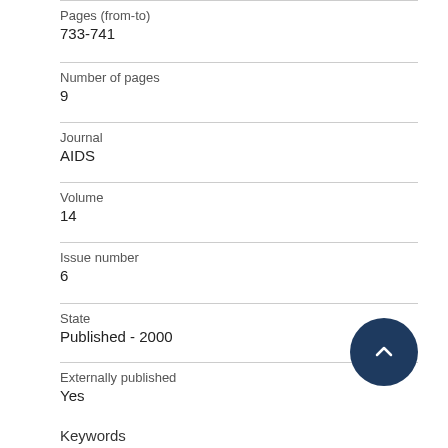Pages (from-to)
733-741
Number of pages
9
Journal
AIDS
Volume
14
Issue number
6
State
Published - 2000
Externally published
Yes
Keywords